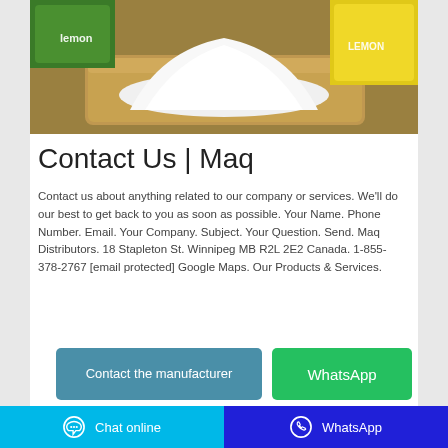[Figure (photo): Photo of a pile of white powder (salt or sugar) on a wooden tray, with a green package on the upper left and a yellow package on the upper right.]
Contact Us | Maq
Contact us about anything related to our company or services. We'll do our best to get back to you as soon as possible. Your Name. Phone Number. Email. Your Company. Subject. Your Question. Send. Maq Distributors. 18 Stapleton St. Winnipeg MB R2L 2E2 Canada. 1-855-378-2767 [email protected] Google Maps. Our Products & Services.
Contact the manufacturer
WhatsApp
Chat online
WhatsApp